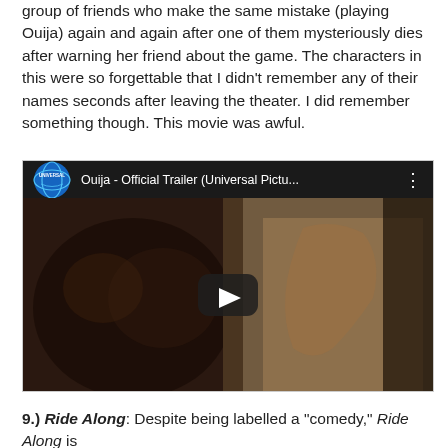group of friends who make the same mistake (playing Ouija) again and again after one of them mysteriously dies after warning her friend about the game. The characters in this were so forgettable that I didn't remember any of their names seconds after leaving the theater. I did remember something though. This movie was awful.
[Figure (screenshot): YouTube video thumbnail for 'Ouija - Official Trailer (Universal Pictu...' showing a dark horror scene with a ghostly figure, Universal Pictures logo, and a play button overlay.]
9.) Ride Along: Despite being labelled a "comedy," Ride Along is